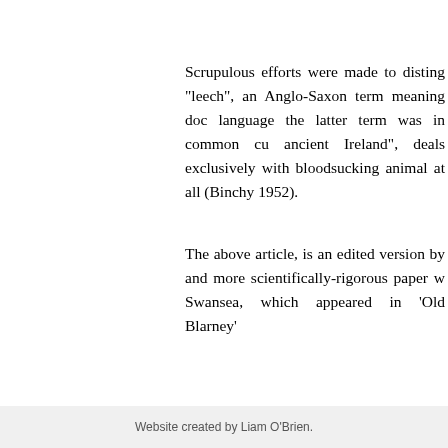Scrupulous efforts were made to disting“leech”, an Anglo-Saxon term meaning doc language the latter term was in common cu ancient Ireland”, deals exclusively with bloodsucking animal at all (Binchy 1952).
The above article, is an edited version by and more scientifically-rigorous paper w Swansea, which appeared in ‘Old Blarney’
Contact: Mr. Brian Gabriel Email: wbrianga
00038611
Website created by Liam O’Brien.